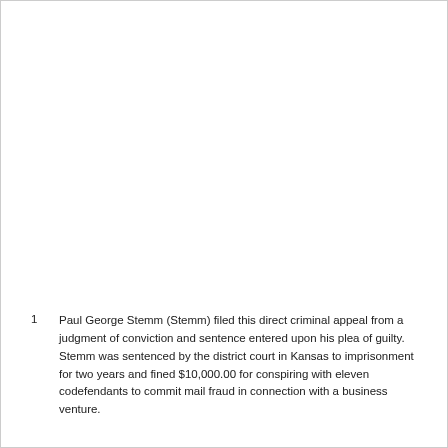1  Paul George Stemm (Stemm) filed this direct criminal appeal from a judgment of conviction and sentence entered upon his plea of guilty. Stemm was sentenced by the district court in Kansas to imprisonment for two years and fined $10,000.00 for conspiring with eleven codefendants to commit mail fraud in connection with a business venture.